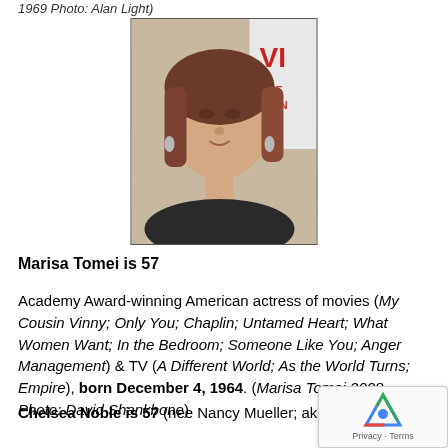1969 Photo: Alan Light)
[Figure (photo): Portrait photo of Marisa Tomei at an event, with a red and white background featuring partial text 'VI', 'AME', 'FOUN'. She has auburn/dark hair and is wearing earrings.]
Marisa Tomei is 57
Academy Award-winning American actress of movies (My Cousin Vinny; Only You; Chaplin; Untamed Heart; What Women Want; In the Bedroom; Someone Like You; Anger Management) & TV (A Different World; As the World Turns; Empire), born December 4, 1964. (Marisa Tomei 2008 Photo: David Shankbone)
Chelsea Noble is 57 (nee Nancy Mueller; aka Mr Cameron)